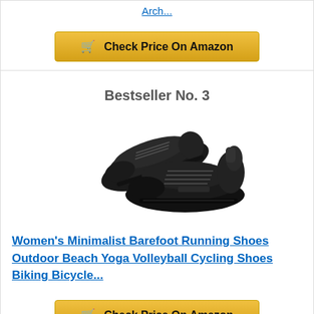Arch...
Check Price On Amazon
Bestseller No. 3
[Figure (photo): Two black minimalist barefoot running shoes displayed against white background]
Women's Minimalist Barefoot Running Shoes Outdoor Beach Yoga Volleyball Cycling Shoes Biking Bicycle...
Check Price On Amazon